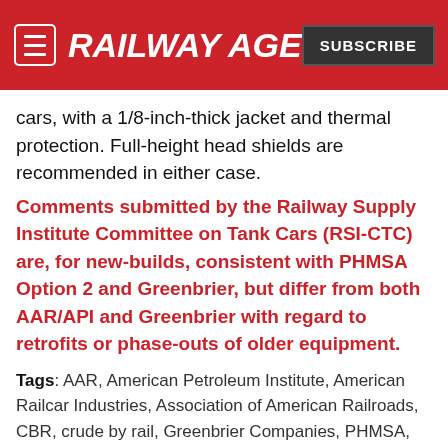RAILWAY AGE | SUBSCRIBE
cars, with a 1/8-inch-thick jacket and thermal protection. Full-height head shields are recommended in either case.
Comments submitted by the Railway Supply Institute Committee on Tank Cars (RSI-CTC) are, for new-builds, consistent with PHMSA Option 2 and Greenbrier, but differ from both AAR/API and Greenbrier with regard to retrofits or phase-outs of older equipment.
Tags: AAR, American Petroleum Institute, American Railcar Industries, Association of American Railroads, CBR, crude by rail, Greenbrier Companies, PHMSA, Pipelines and Hazardous Materials Safety Administration, Tank Car of the Future, tank cars, Trinity Industries